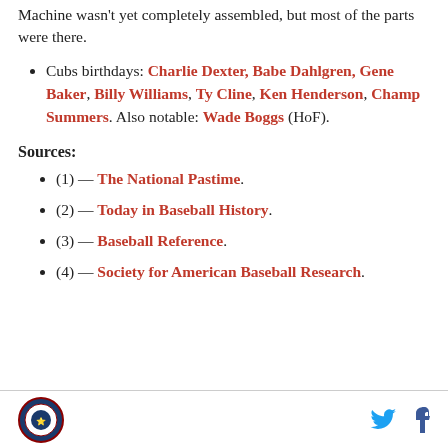Machine wasn't yet completely assembled, but most of the parts were there.
Cubs birthdays: Charlie Dexter, Babe Dahlgren, Gene Baker, Billy Williams, Ty Cline, Ken Henderson, Champ Summers. Also notable: Wade Boggs (HoF).
Sources:
(1) — The National Pastime.
(2) — Today in Baseball History.
(3) — Baseball Reference.
(4) — Society for American Baseball Research.
Logo and social media icons